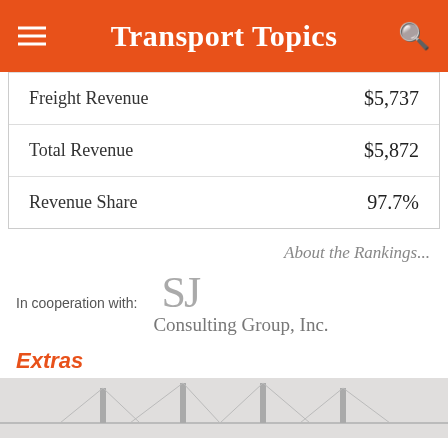Transport Topics
| Freight Revenue | $5,737 |
| Total Revenue | $5,872 |
| Revenue Share | 97.7% |
About the Rankings...
In cooperation with: SJ Consulting Group, Inc.
Extras
[Figure (photo): Bridge illustration/photo at bottom of page]